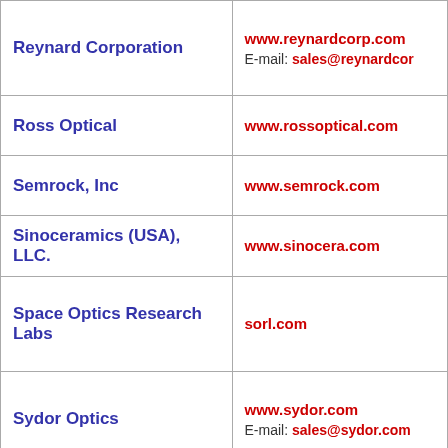| Company | Contact |
| --- | --- |
| Reynard Corporation | www.reynardcorp.com
E-mail: sales@reynardcor |
| Ross Optical | www.rossoptical.com |
| Semrock, Inc | www.semrock.com |
| Sinoceramics (USA), LLC. | www.sinocera.com |
| Space Optics Research Labs | sorl.com |
| Sydor Optics | www.sydor.com
E-mail: sales@sydor.com |
| TecOptics | www.tecoptics.com |